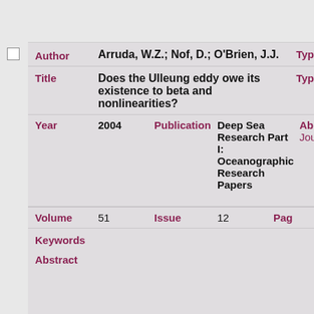| Field | Value |
| --- | --- |
| Author | Arruda, W.Z.; Nof, D.; O'Brien, J.J. |
| Title | Does the Ulleung eddy owe its existence to beta and nonlinearities? |
| Year | 2004 |
| Publication | Deep Sea Research Part I: Oceanographic Research Papers |
| Volume | 51 |
| Issue | 12 |
| Keywords |  |
| Abstract |  |